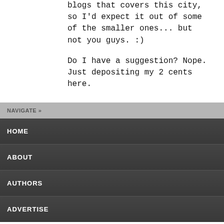blogs that covers this city, so I'd expect it out of some of the smaller ones... but not you guys. :)
Do I have a suggestion? Nope. Just depositing my 2 cents here.
NAVIGATE »
HOME
ABOUT
AUTHORS
ADVERTISE